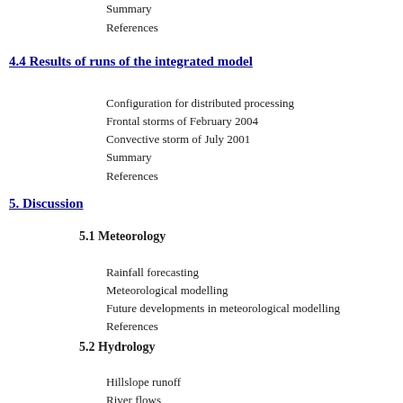Summary
References
4.4 Results of runs of the integrated model
Configuration for distributed processing
Frontal storms of February 2004
Convective storm of July 2001
Summary
References
5. Discussion
5.1 Meteorology
Rainfall forecasting
Meteorological modelling
Future developments in meteorological modelling
References
5.2 Hydrology
Hillslope runoff
River flows